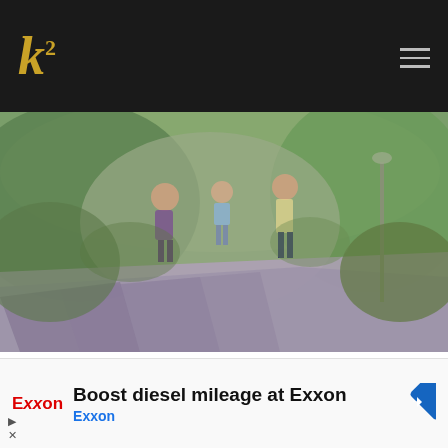k² (logo)
[Figure (illustration): Watercolor painting of three people walking on steps or a path, surrounded by green foliage. The figures are loosely painted in a loose impressionistic watercolor style.]
6. I should not be afraid to commit mistakes. In the demo by Sir Uhky-Uhky Estremos, he talked about telling your story, knowing your intentions, not to r mistakes, to feel good and be happy.
Boost diesel mileage at Exxon
Exxon